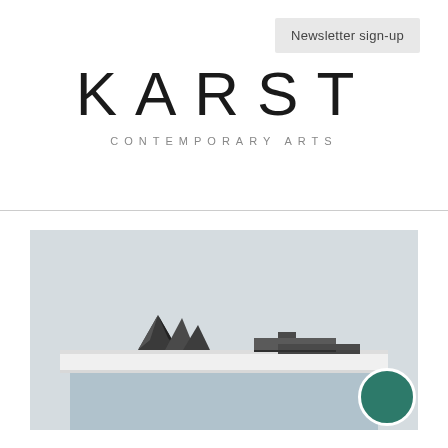KARST
CONTEMPORARY ARTS
Newsletter sign-up
[Figure (photo): Two dark sculptural objects on a white shelf against a light blue/grey background. Left object: a cluster of dark triangular pyramid shapes. Right object: a cross or T-shaped dark geometric sculpture. The shelf sits on a pale blue rectangular plinth.]